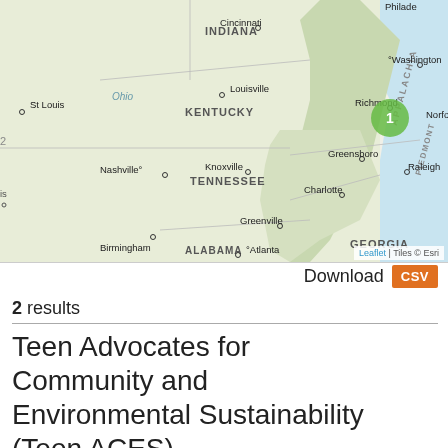[Figure (map): Interactive Leaflet map showing eastern United States with cities labeled (Indiana, Cincinnati, Philadelphia, St Louis, Ohio, Louisville, Washington, Kentucky, Virginia, Richmond, Norfolk, Nashville, Knoxville, Greensboro, Raleigh, Tennessee, Charlotte, North Carolina, Greenville, South Carolina, Atlanta, Georgia, Birmingham, Alabama, Appalachian and Piedmont region labels). A green cluster marker with '1' is shown near Richmond/Norfolk area. Map attribution: Leaflet | Tiles © Esri.]
Download CSV
2 results
Teen Advocates for Community and Environmental Sustainability (Teen ACES)